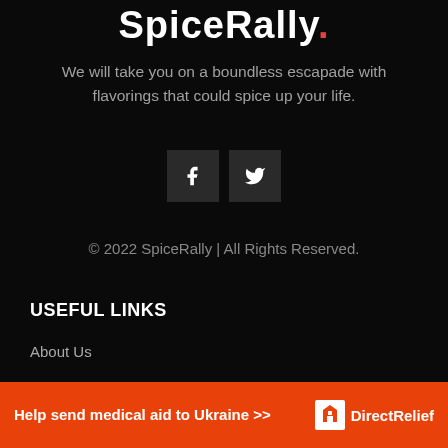SpiceRally.
We will take you on a boundless escapade with flavorings that could spice up your life.
[Figure (other): Social media icon buttons for Facebook and Twitter on dark background squares]
© 2022 SpiceRally | All Rights Reserved.
USEFUL LINKS
About Us
Contact
[Figure (infographic): Orange advertisement banner: Help send medical aid to Ukraine >> Direct Relief logo]